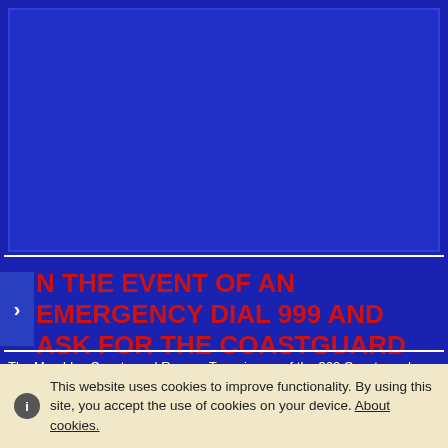[Figure (photo): Dark blue rectangle representing a header image/photo area on a blue background website]
IN THE EVENT OF AN EMERGENCY DIAL 999 AND ASK FOR THE COASTGUARD
The Mumbles Coastguard Rescue Team is one of the 362 Coastguard Rescue Teams that are strategically placed around the UK coastline.
All the rescue teams, like ourselves, are equipped to deal with incidents and rescues that are associated within the local coastal terrain, shoreline…
This website uses cookies to improve functionality. By using this site, you accept the use of cookies on your device. About cookies.